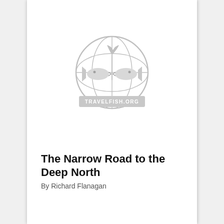[Figure (logo): Travelfish.org logo: circular emblem with two fish facing each other and a plant/leaf on top, with a banner below reading TRAVELFISH.ORG, rendered in light grey]
The Narrow Road to the Deep North
By Richard Flanagan